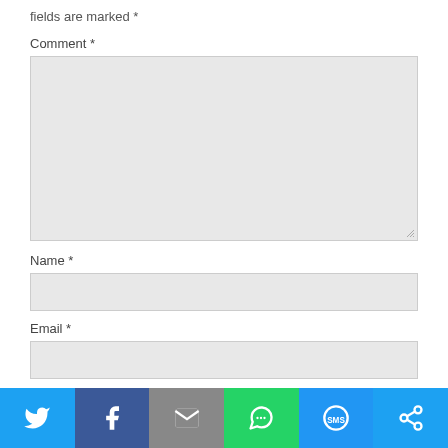fields are marked *
Comment *
Name *
Email *
Website
[Figure (screenshot): Social sharing bar with Twitter, Facebook, Email, WhatsApp, SMS, and other sharing buttons]